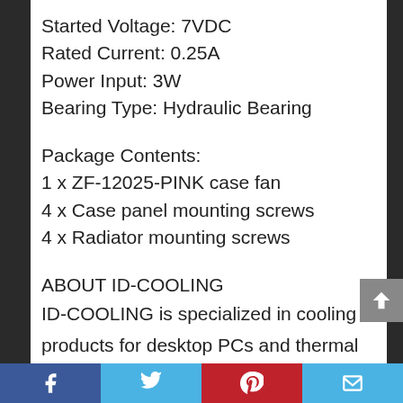Started Voltage: 7VDC
Rated Current: 0.25A
Power Input: 3W
Bearing Type: Hydraulic Bearing
Package Contents:
1 x ZF-12025-PINK case fan
4 x Case panel mounting screws
4 x Radiator mounting screws
ABOUT ID-COOLING
ID-COOLING is specialized in cooling products for desktop PCs and thermal solutions for industrial applications, covering CPU Cooler, VGA Cooler, Case Fan &
Facebook | Twitter | Pinterest | Email